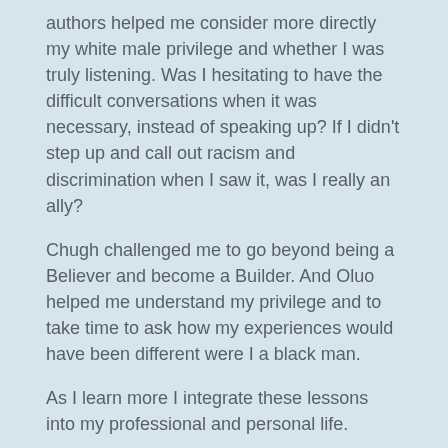authors helped me consider more directly my white male privilege and whether I was truly listening. Was I hesitating to have the difficult conversations when it was necessary, instead of speaking up? If I didn't step up and call out racism and discrimination when I saw it, was I really an ally?
Chugh challenged me to go beyond being a Believer and become a Builder. And Oluo helped me understand my privilege and to take time to ask how my experiences would have been different were I a black man.
As I learn more I integrate these lessons into my professional and personal life.
Everyone Needs a Coach
I love this piece. I've been learning about and practicing leadership coaching for almost 3 years now. At every